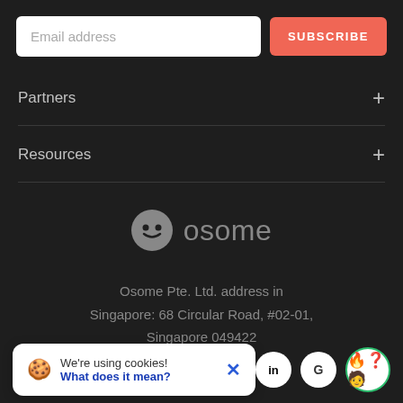Email address
SUBSCRIBE
Partners
Resources
[Figure (logo): Osome logo with smiley face icon and 'osome' text in grey]
Osome Pte. Ltd. address in Singapore: 68 Circular Road, #02-01, Singapore 049422
We're using cookies! What does it mean?